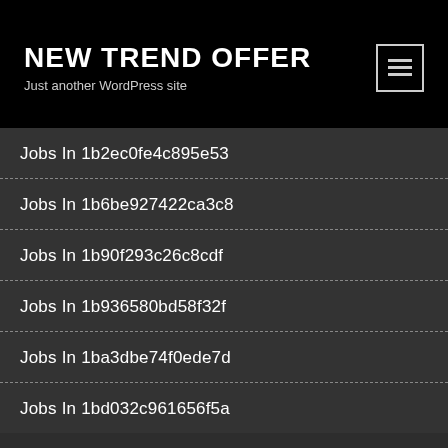NEW TREND OFFER
Just another WordPress site
Jobs In 1b2ec0fe4c895e53
Jobs In 1b6be927422ca3c8
Jobs In 1b90f293c26c8cdf
Jobs In 1b936580bd58f32f
Jobs In 1ba3dbe74f0ede7d
Jobs In 1bd032c961656f5a